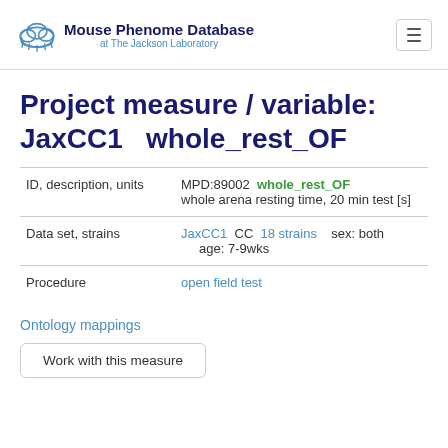Mouse Phenome Database at The Jackson Laboratory
Project measure / variable: JaxCC1   whole_rest_OF
| Field | Value |
| --- | --- |
| ID, description, units | MPD:89002  whole_rest_OF  whole arena resting time, 20 min test [s] |
| Data set, strains | JaxCC1  CC  18 strains  sex: both  age: 7-9wks |
| Procedure | open field test |
Ontology mappings
Work with this measure